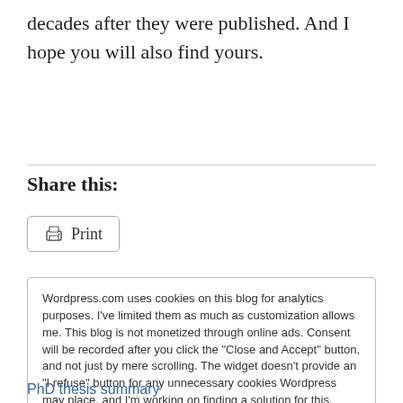decades after they were published. And I hope you will also find yours.
Share this:
Print
Wordpress.com uses cookies on this blog for analytics purposes. I've limited them as much as customization allows me. This blog is not monetized through online ads. Consent will be recorded after you click the "Close and Accept" button, and not just by mere scrolling. The widget doesn't provide an "I refuse" button for any unnecessary cookies Wordpress may place, and I'm working on finding a solution for this. Wordpress Cookie Policy
Close and accept
PhD thesis summary